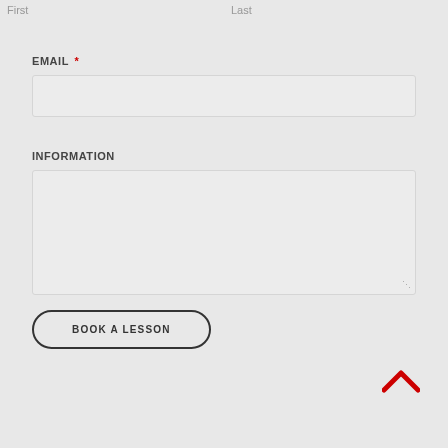First
Last
EMAIL *
INFORMATION
BOOK A LESSON